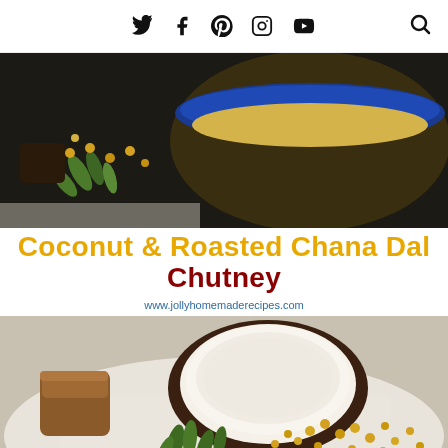Social media icons: Twitter, Facebook, Pinterest, Instagram, YouTube, Search
[Figure (photo): Top-down photo of a blue bowl filled with coconut chana dal chutney, surrounded by curry leaves and yellow lentils on a dark surface]
Coconut & Roasted Chana Dal Chutney
www.jollyhomemaderecipes.com
[Figure (photo): Flat lay photo showing a halved coconut, a block of jaggery, scattered yellow chana dal lentils, curry leaves, and dried red chilies on a white cloth]